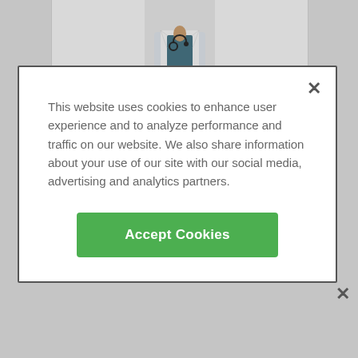[Figure (screenshot): Partial doctor profile card visible at top behind modal overlay, showing bottom portion of a doctor illustration with white coat and stethoscope]
This website uses cookies to enhance user experience and to analyze performance and traffic on our website. We also share information about your use of our site with our social media, advertising and analytics partners.
[Figure (screenshot): Green Accept Cookies button]
[Figure (screenshot): Doctor profile image showing illustration of doctor in white coat with stethoscope]
Dr. Ali Khalifeh, MD
0 reviews
ADVERTISEMENT
[Figure (screenshot): Healthgrades advertisement banner: '5-star doctors really do exist. Find Yours Today']